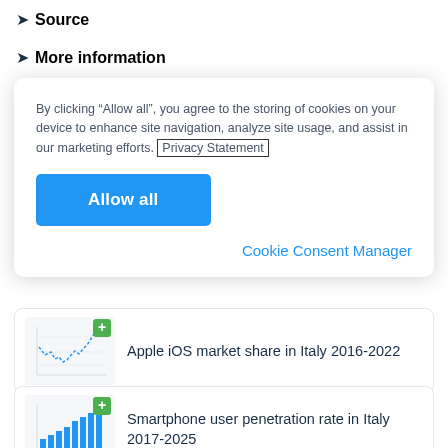> Source
> More information
By clicking “Allow all”, you agree to the storing of cookies on your device to enhance site navigation, analyze site usage, and assist in our marketing efforts. Privacy Statement
Allow all
Cookie Consent Manager
[Figure (other): Thumbnail of a line chart showing Apple iOS market share in Italy 2016-2022 with a green plus badge]
Apple iOS market share in Italy 2016-2022
[Figure (bar-chart): Thumbnail of a bar chart showing Smartphone user penetration rate in Italy 2017-2025 with a green plus badge]
Smartphone user penetration rate in Italy 2017-2025